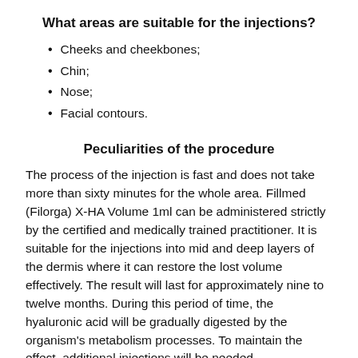What areas are suitable for the injections?
Cheeks and cheekbones;
Chin;
Nose;
Facial contours.
Peculiarities of the procedure
The process of the injection is fast and does not take more than sixty minutes for the whole area. Fillmed (Filorga) X-HA Volume 1ml can be administered strictly by the certified and medically trained practitioner. It is suitable for the injections into mid and deep layers of the dermis where it can restore the lost volume effectively. The result will last for approximately nine to twelve months. During this period of time, the hyaluronic acid will be gradually digested by the organism's metabolism processes. To maintain the effect, additional injections will be needed.